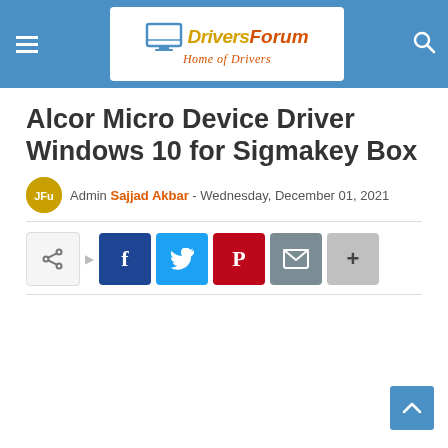DriversForumHome of Drivers
Alcor Micro Device Driver Windows 10 for Sigmakey Box
Admin Sajjad Akbar - Wednesday, December 01, 2021
[Figure (infographic): Social share buttons row: share icon, Facebook, Twitter, Pinterest, Email, More (+)]